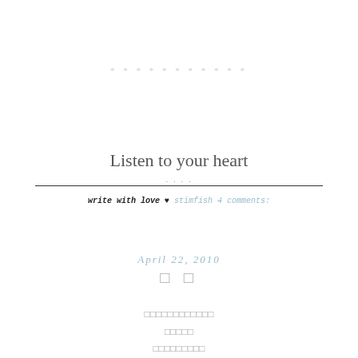* * * * * * * * * * *
Listen to your heart
....
write with love ♥ stimfish 4 comments:
April 22, 2010
[] []
□□□□□□□□□□□□
□□□□□
□□□□□□□□□